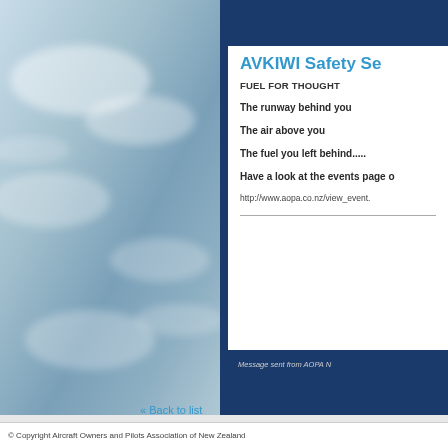[Figure (photo): Background photo of sky with clouds, blue tones, aircraft-related imagery]
AVKIWI Safety Se
FUEL FOR THOUGHT
The runway behind you
The air above you
The fuel you left behind.....
Have a look at the events page o
http://www.aopa.co.nz/view_event.
Message sent from AOPA N
« Back to list
© Copyright Aircraft Owners and Pilots Association of New Zealand